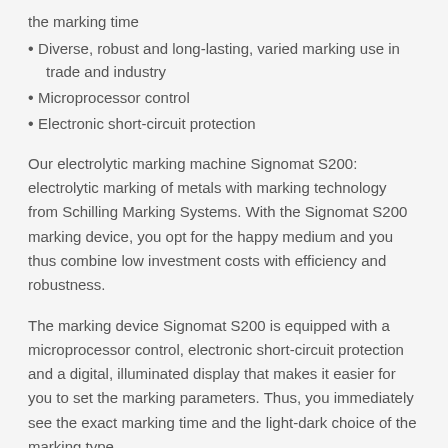the marking time
Diverse, robust and long-lasting, varied marking use in trade and industry
Microprocessor control
Electronic short-circuit protection
Our electrolytic marking machine Signomat S200: electrolytic marking of metals with marking technology from Schilling Marking Systems. With the Signomat S200 marking device, you opt for the happy medium and you thus combine low investment costs with efficiency and robustness.
The marking device Signomat S200 is equipped with a microprocessor control, electronic short-circuit protection and a digital, illuminated display that makes it easier for you to set the marking parameters. Thus, you immediately see the exact marking time and the light-dark choice of the marking type.